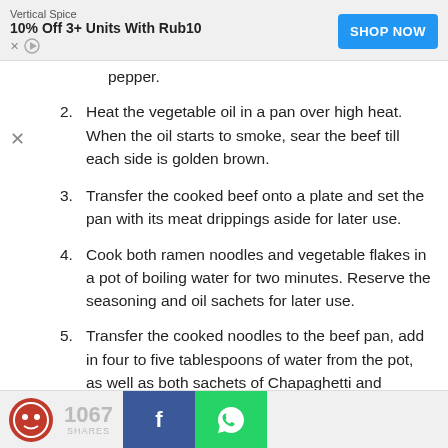[Figure (other): Advertisement banner: Vertical Spice brand, '10% Off 3+ Units With Rub10', SHOP NOW button in blue]
pepper.
2. Heat the vegetable oil in a pan over high heat. When the oil starts to smoke, sear the beef till each side is golden brown.
3. Transfer the cooked beef onto a plate and set the pan with its meat drippings aside for later use.
4. Cook both ramen noodles and vegetable flakes in a pot of boiling water for two minutes. Reserve the seasoning and oil sachets for later use.
5. Transfer the cooked noodles to the beef pan, add in four to five tablespoons of water from the pot, as well as both sachets of Chapaghetti and Neoguri seasoning.
1067 SHARES